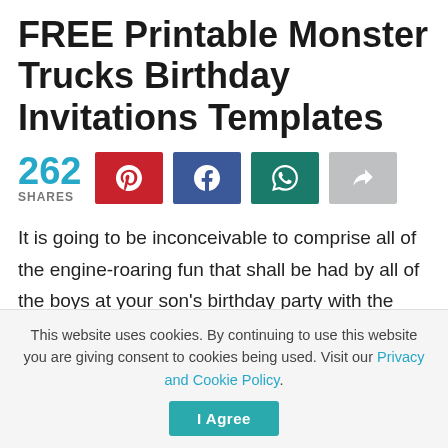FREE Printable Monster Trucks Birthday Invitations Templates
262 SHARES [social share buttons: Pinterest, Facebook, WhatsApp, Share]
It is going to be inconceivable to comprise all of the engine-roaring fun that shall be had by all of the boys at your son's birthday party with the Monster Truck birthday party theme. They will be loud and feeling destructive, however there's lots on this set to make sure that they're going to be properly-behaved and entertained for hours.
This website uses cookies. By continuing to use this website you are giving consent to cookies being used. Visit our Privacy and Cookie Policy. I Agree